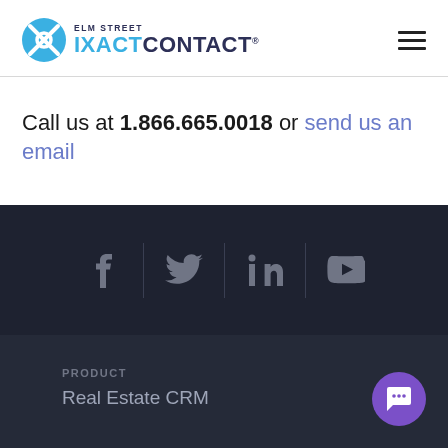[Figure (logo): Elm Street IXACT CONTACT logo with blue circle X icon]
Call us at 1.866.665.0018 or send us an email
[Figure (infographic): Social media icons: Facebook, Twitter, LinkedIn, YouTube on dark background]
PRODUCT
Real Estate CRM